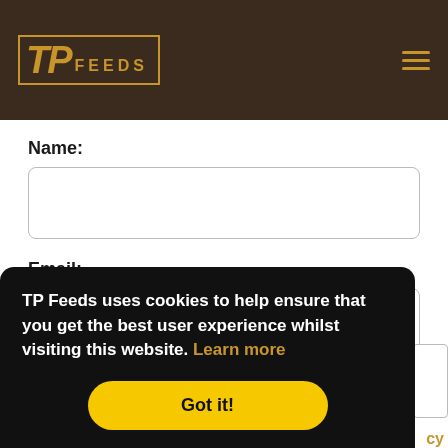[Figure (logo): TP Feeds logo with gold text on dark brown header background, hamburger menu icon on right]
Name:
Email:
TP Feeds uses cookies to help ensure that you get the best user experience whilst visiting this website. Learn more
Got it!